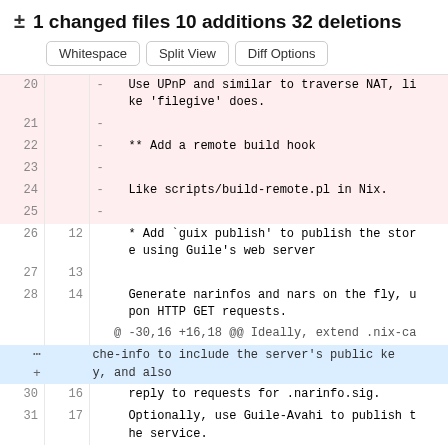± 1 changed files 10 additions 32 deletions
Whitespace  Split View  Diff Options
[Figure (screenshot): Code diff view showing deleted lines 20-25 (pink background) with content about UPnP/NAT traversal and remote build hook, context lines 26-28 with guix publish store content, an expand hunk row, and context lines 30-31 with narinfo.sig and Guile-Avahi content.]